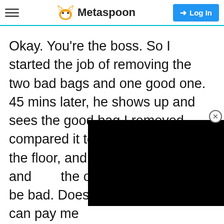Metaspoon
Okay. You’re the boss. So I started the job of removing the two bad bags and one good one. 45 mins later, he shows up and sees the good bag I removed, compared it to the n[obscured] still on the floor, and[obscured] fact a good bag, and[obscured] the one I initially found to be bad. Doesn’t matter to me. You can pay me